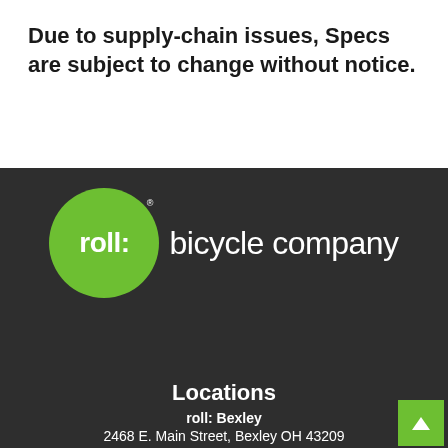Due to supply-chain issues, Specs are subject to change without notice.
[Figure (logo): Roll: Bicycle Company logo — white text 'roll:' inside a green circle with registered trademark symbol, followed by white text 'bicycle company' on dark background]
Locations
roll: Bexley
2468 E. Main Street, Bexley OH 43209